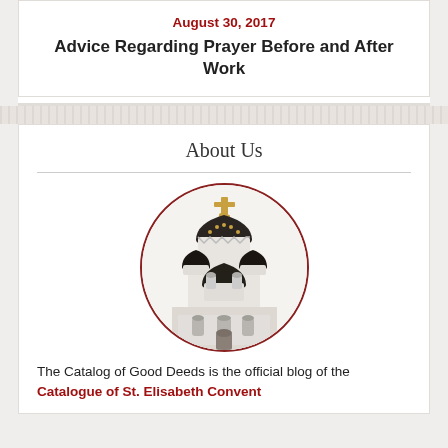August 30, 2017
Advice Regarding Prayer Before and After Work
About Us
[Figure (photo): Circular-framed photograph of an Orthodox church with white rounded domes, dark dome caps with gold details, and a gold cross on top, shown against a white sky.]
The Catalog of Good Deeds is the official blog of the Catalogue of St. Elisabeth Convent